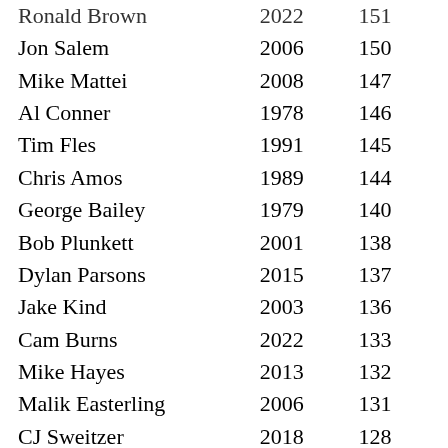| Name | Year | Score |
| --- | --- | --- |
| Ronald Brown | 2022 | 151 |
| Jon Salem | 2006 | 150 |
| Mike Mattei | 2008 | 147 |
| Al Conner | 1978 | 146 |
| Tim Fles | 1991 | 145 |
| Chris Amos | 1989 | 144 |
| George Bailey | 1979 | 140 |
| Bob Plunkett | 2001 | 138 |
| Dylan Parsons | 2015 | 137 |
| Jake Kind | 2003 | 136 |
| Cam Burns | 2022 | 133 |
| Mike Hayes | 2013 | 132 |
| Malik Easterling | 2006 | 131 |
| CJ Sweitzer | 2018 | 128 |
| Drew Dowds | 2013 | 126 |
| Julian Anderson | 2015 | 122 |
| Nelson Henry | 1995 | 122 |
| John Atkinson | 1996 | 119 |
| Matt Bahill | 2017 | 112 |